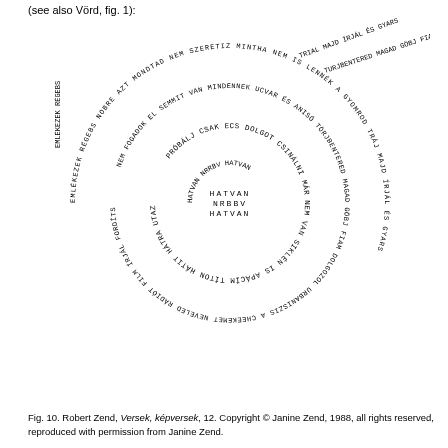(see also Vörd, fig. 1):
[Figure (illustration): Concrete/visual poem by Robert Zend showing concentric circles of Hungarian text arranged in a spiral/circular pattern, with text running along curved paths forming multiple rings around a central point that contains the word 'HATVAN' repeated. Additional text radiates outward from the circles in diagonal lines.]
Fig. 10. Robert Zend, Versek, képversek, 12. Copyright © Janine Zend, 1988, all rights reserved, reproduced with permission from Janine Zend.